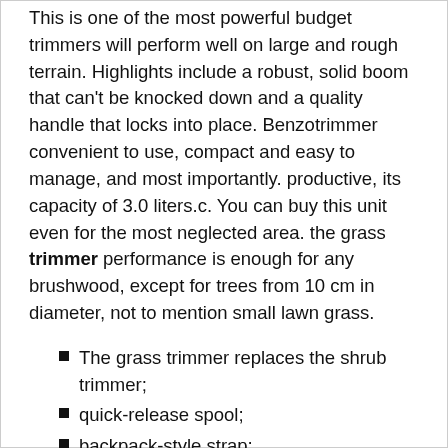This is one of the most powerful budget trimmers will perform well on large and rough terrain. Highlights include a robust, solid boom that can't be knocked down and a quality handle that locks into place. Benzotrimmer convenient to use, compact and easy to manage, and most importantly. productive, its capacity of 3.0 liters.c. You can buy this unit even for the most neglected area. the grass trimmer performance is enough for any brushwood, except for trees from 10 cm in diameter, not to mention small lawn grass.
The grass trimmer replaces the shrub trimmer;
quick-release spool;
backpack-style strap;
excellent equipment;
high power;
quick access to air filter.